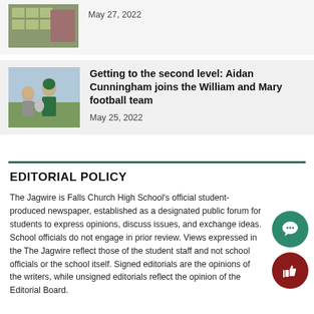[Figure (photo): Thumbnail image of a building or aerial view]
May 27, 2022
[Figure (photo): Two students in green uniforms with football equipment]
Getting to the second level: Aidan Cunningham joins the William and Mary football team
May 25, 2022
EDITORIAL POLICY
The Jagwire is Falls Church High School's official student-produced newspaper, established as a designated public forum for students to express opinions, discuss issues, and exchange ideas. School officials do not engage in prior review. Views expressed in the The Jagwire reflect those of the student staff and not school officials or the school itself. Signed editorials are the opinions of the writers, while unsigned editorials reflect the opinion of the Editorial Board.